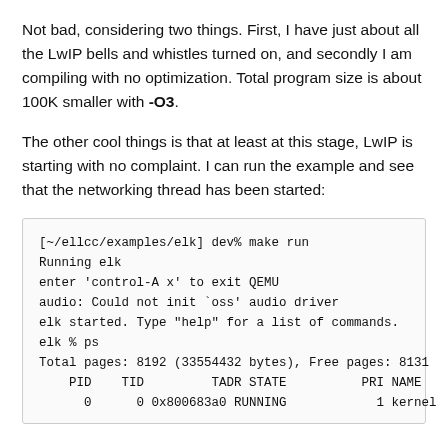Not bad, considering two things. First, I have just about all the LwIP bells and whistles turned on, and secondly I am compiling with no optimization. Total program size is about 100K smaller with -O3.
The other cool things is that at least at this stage, LwIP is starting with no complaint. I can run the example and see that the networking thread has been started:
[Figure (screenshot): Terminal/code block showing shell session output: running elk in QEMU, ps command output with PID, TID, TADR, STATE, PRI, NAME columns and a kernel process entry.]